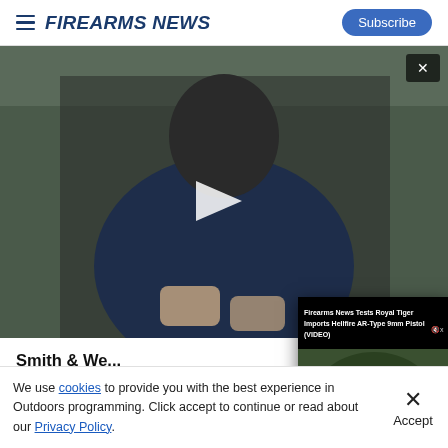Firearms News — Subscribe
[Figure (screenshot): Main video thumbnail showing a person in a dark jacket holding an object outdoors with bare trees in background, with a play button overlay]
[Figure (screenshot): Floating video player showing 'Firearms News Tests Royal Tiger Imports Hellfire AR-Type 9mm Pistol (VIDEO)' with a person holding a firearm, video duration 11:24, controls bar at bottom]
Smith & We... (VIDEO)
Firearms New...
We use cookies to provide you with the best experience in Outdoors programming. Click accept to continue or read about our Privacy Policy.